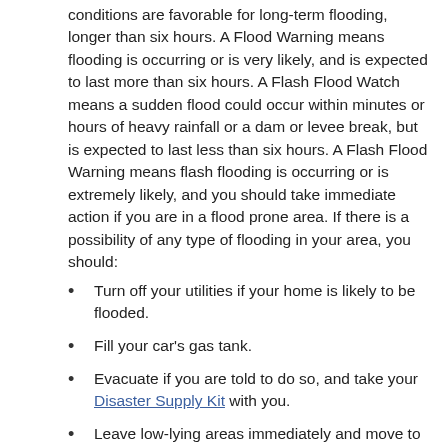conditions are favorable for long-term flooding, longer than six hours. A Flood Warning means flooding is occurring or is very likely, and is expected to last more than six hours. A Flash Flood Watch means a sudden flood could occur within minutes or hours of heavy rainfall or a dam or levee break, but is expected to last less than six hours. A Flash Flood Warning means flash flooding is occurring or is extremely likely, and you should take immediate action if you are in a flood prone area. If there is a possibility of any type of flooding in your area, you should:
Turn off your utilities if your home is likely to be flooded.
Fill your car's gas tank.
Evacuate if you are told to do so, and take your Disaster Supply Kit with you.
Leave low-lying areas immediately and move to higher ground.
Stay out of flooded areas. Water may be rising and fast-moving. Less than one foot of fast moving water can sweep an adult off their feet.